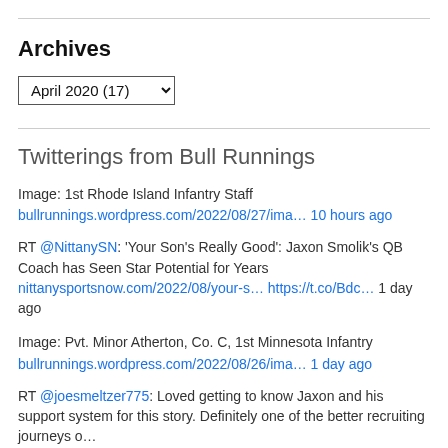Archives
April 2020  (17)
Twitterings from Bull Runnings
Image: 1st Rhode Island Infantry Staff
bullrunnings.wordpress.com/2022/08/27/ima… 10 hours ago
RT @NittanySN: 'Your Son's Really Good': Jaxon Smolik's QB Coach has Seen Star Potential for Years nittanysportsnow.com/2022/08/your-s… https://t.co/Bdc… 1 day ago
Image: Pvt. Minor Atherton, Co. C, 1st Minnesota Infantry
bullrunnings.wordpress.com/2022/08/26/ima… 1 day ago
RT @joesmeltzer775: Loved getting to know Jaxon and his support system for this story. Definitely one of the better recruiting journeys o… 2 days ago